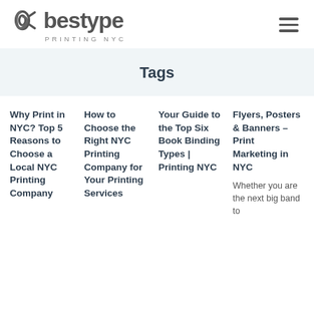[Figure (logo): Bestype Printing NYC logo with spiral/chain icon and wordmark]
Tags
Why Print in NYC? Top 5 Reasons to Choose a Local NYC Printing Company
How to Choose the Right NYC Printing Company for Your Printing Services
Your Guide to the Top Six Book Binding Types | Printing NYC
Flyers, Posters & Banners – Print Marketing in NYC
Whether you are the next big band to